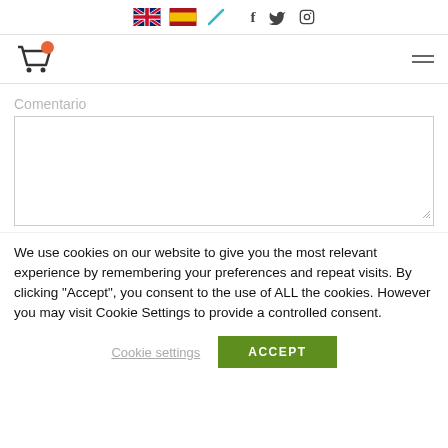Navigation bar with language flags (UK, ES), pencil icon, and social icons (f, Twitter, Instagram)
[Figure (screenshot): Shopping cart icon with orange badge notification dot, and hamburger menu icon on the right]
Comentario
[Figure (screenshot): Empty textarea comment input box]
We use cookies on our website to give you the most relevant experience by remembering your preferences and repeat visits. By clicking “Accept”, you consent to the use of ALL the cookies. However you may visit Cookie Settings to provide a controlled consent.
Cookie settings
ACCEPT